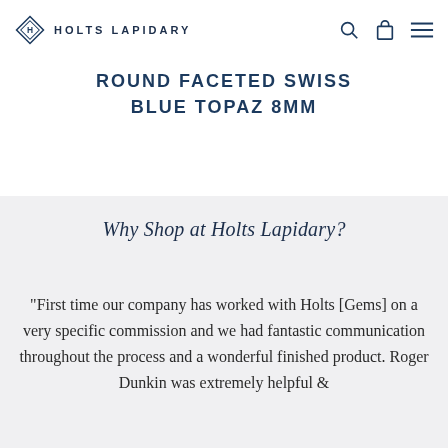HOLTS LAPIDARY
ROUND FACETED SWISS BLUE TOPAZ 8MM
Why Shop at Holts Lapidary?
"First time our company has worked with Holts [Gems] on a very specific commission and we had fantastic communication throughout the process and a wonderful finished product. Roger Dunkin was extremely helpful &